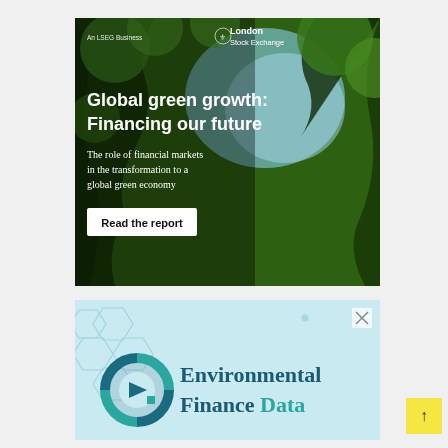[Figure (illustration): London Stock Exchange (LSEG Business) advertisement banner featuring green tree canopy from below, with text 'Global green growth: Financing our future' and subtitle 'The role of financial markets in the transformation to a global green economy' plus a 'Read the report' button]
[Figure (logo): Environmental Finance Data advertisement with light blue background, hexagonal pattern graphics on left, circular logo in teal/dark blue, and 'Environmental Finance Data' text with 'Data' in teal color. Has an X close button in top right corner.]